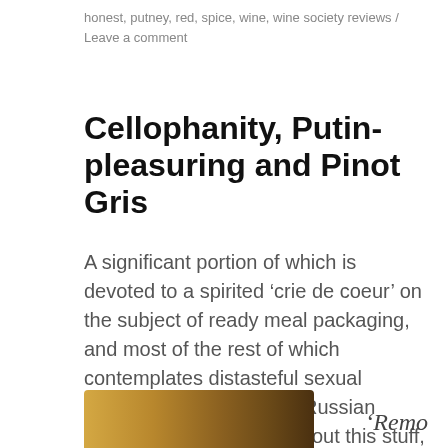honest, putney, red, spice, wine, wine society reviews / Leave a comment
Cellophanity, Putin-pleasuring and Pinot Gris
A significant portion of which is devoted to a spirited ‘crie de coeur’ on the subject of ready meal packaging, and most of the rest of which contemplates distasteful sexual activities practised upon Russian politicians. I’m up-front about this stuff, y’know.
[Figure (photo): Partial photo of what appears to be a wine bottle or glass with golden/amber tones, cropped at bottom of page]
‘Remo